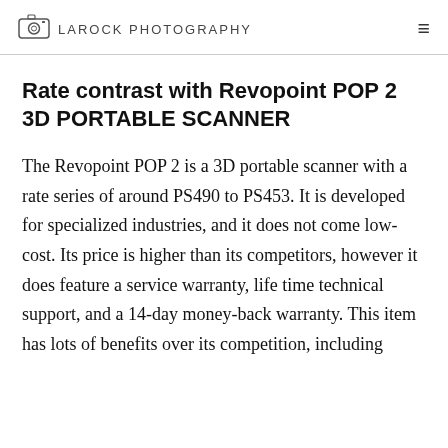LAROCK PHOTOGRAPHY
Rate contrast with Revopoint POP 2 3D PORTABLE SCANNER
The Revopoint POP 2 is a 3D portable scanner with a rate series of around PS490 to PS453. It is developed for specialized industries, and it does not come low-cost. Its price is higher than its competitors, however it does feature a service warranty, life time technical support, and a 14-day money-back warranty. This item has lots of benefits over its competition, including